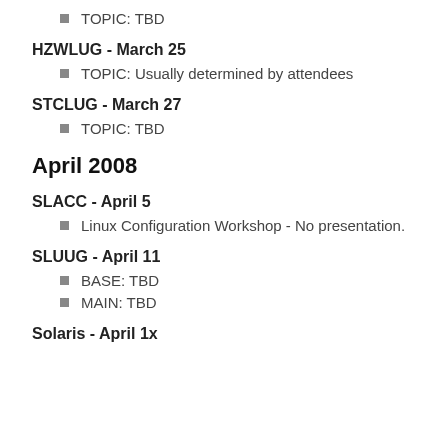TOPIC: TBD
HZWLUG - March 25
TOPIC: Usually determined by attendees
STCLUG - March 27
TOPIC: TBD
April 2008
SLACC - April 5
Linux Configuration Workshop - No presentation.
SLUUG - April 11
BASE: TBD
MAIN: TBD
Solaris - April 1x